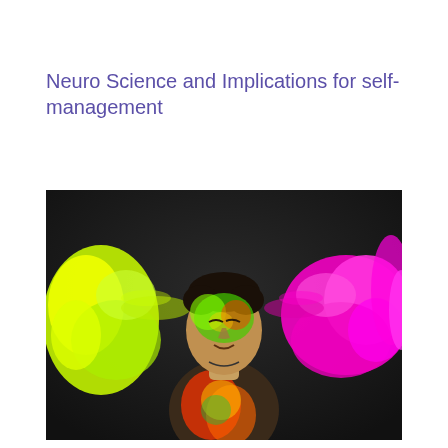Neuro Science and Implications for self-management
[Figure (photo): A man with eyes closed, covered in colorful Holi powder (green, yellow, red on his face and shirt), with yellow powder cloud on the left and magenta/pink powder cloud on the right, against a dark blurred background.]